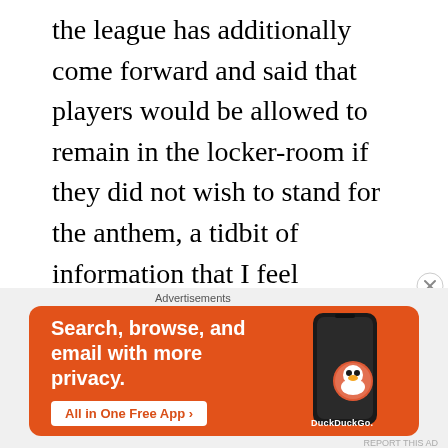the league has additionally come forward and said that players would be allowed to remain in the locker-room if they did not wish to stand for the anthem, a tidbit of information that I feel completely negates the purpose of this decision by the league. The plan to keep these players in the locker-room, seemingly highlighting the individuals who want to bring attention to the issues mentioned prior, will only create further alienation around the national media landscape and lead to more
[Figure (infographic): DuckDuckGo advertisement banner with orange background. Left side shows text 'Search, browse, and email with more privacy.' with 'All in One Free App' button. Right side shows a phone with DuckDuckGo logo and brand name.]